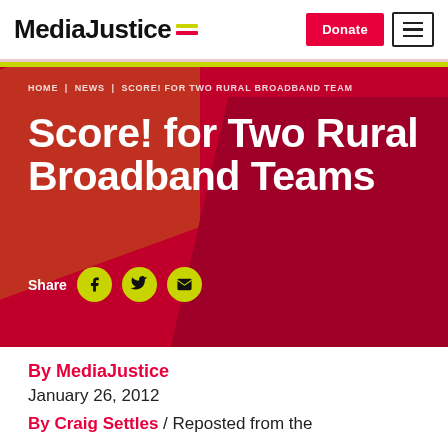MediaJustice | Donate
[Figure (screenshot): MediaJustice website header with logo, Donate button, and hamburger menu]
HOME | NEWS | SCORE! FOR TWO RURAL BROADBAND TEAM
Score! for Two Rural Broadband Teams
Share (Facebook, Twitter, Email icons)
By MediaJustice
January 26, 2012
By Craig Settles / Reposted from the